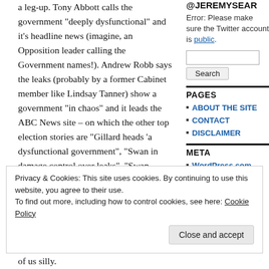a leg-up. Tony Abbott calls the government “deeply dysfunctional” and it’s headline news (imagine, an Opposition leader calling the Government names!). Andrew Robb says the leaks (probably by a former Cabinet member like Lindsay Tanner) show a government “in chaos” and it leads the ABC News site – on which the other top election stories are “Gillard heads ‘a dysfunctional government”, “Swan in damage control over leaks”, “Swan frustrated by talk of rat in Labor ranks” etc.
FIVE of the seven election stories on ABC
@JEREMYSEAR
Error: Please make sure the Twitter account is public.
PAGES
ABOUT THE SITE
CONTACT
DISCLAIMER
META
Privacy & Cookies: This site uses cookies. By continuing to use this website, you agree to their use.
To find out more, including how to control cookies, see here: Cookie Policy
Close and accept
of us silly.
WordPress.com